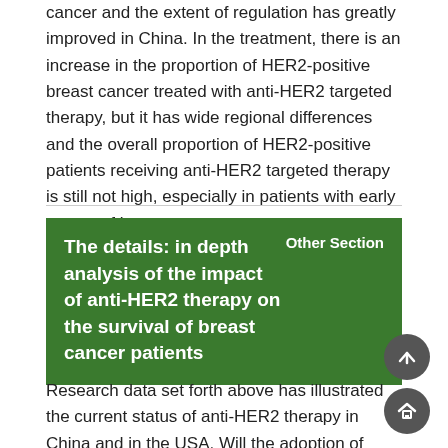cancer and the extent of regulation has greatly improved in China. In the treatment, there is an increase in the proportion of HER2-positive breast cancer treated with anti-HER2 targeted therapy, but it has wide regional differences and the overall proportion of HER2-positive patients receiving anti-HER2 targeted therapy is still not high, especially in patients with early stages of breast cancer.
The details: in depth analysis of the impact of anti-HER2 therapy on the survival of breast cancer patients
Research data set forth above has illustrated the current status of anti-HER2 therapy in China and in the USA. Will the adoption of targeted therapy for HER2-positive breast cancer affect the survival of patients, and if so, how much is the impact? We will